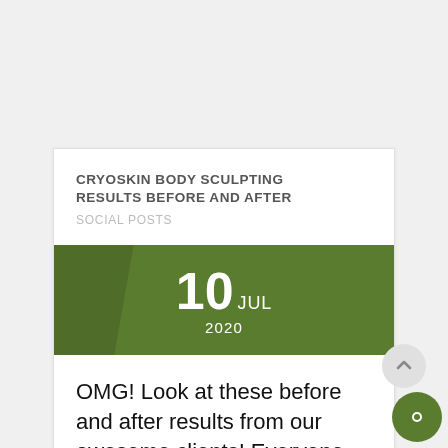CRYOSKIN BODY SCULPTING RESULTS BEFORE AND AFTER
SOCIAL POSTS
10 JUL 2020
OMG! Look at these before and after results from our awesome clients! Everyone who does it